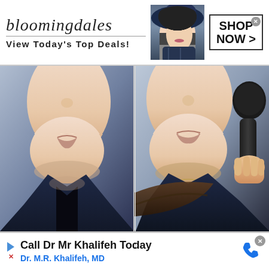[Figure (photo): Bloomingdales advertisement banner with logo, tagline 'View Today's Top Deals!', a model wearing a wide-brim hat, and a 'SHOP NOW >' button]
[Figure (photo): Two side-by-side video stills of an Asian man's face and neck: left shows plain face/chin in dark jacket, right shows same person with a microphone near mouth and a woman's hair below]
[Figure (photo): Google ad for 'Call Dr Mr Khalifeh Today' with subtitle 'Dr. M.R. Khalifeh, MD' and a blue phone icon on the right, with Google Ads play/x icon on left]